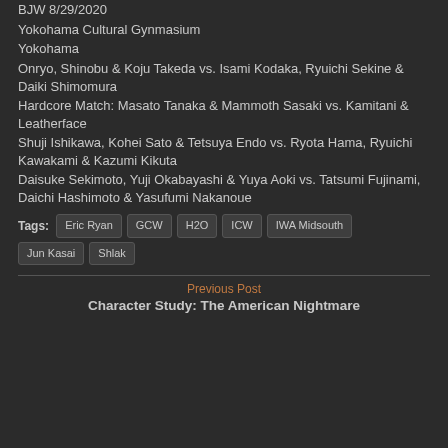BJW 8/29/2020
Yokohama Cultural Gynmasium
Yokohama
Onryo, Shinobu & Koju Takeda vs. Isami Kodaka, Ryuichi Sekine & Daiki Shimomura
Hardcore Match: Masato Tanaka & Mammoth Sasaki vs. Kamitani & Leatherface
Shuji Ishikawa, Kohei Sato & Tetsuya Endo vs. Ryota Hama, Ryuichi Kawakami & Kazumi Kikuta
Daisuke Sekimoto, Yuji Okabayashi & Yuya Aoki vs. Tatsumi Fujinami, Daichi Hashimoto & Yasufumi Nakanoue
Tags: Eric Ryan  GCW  H2O  ICW  IWA Midsouth  Jun Kasai  Shlak
Previous Post
Character Study: The American Nightmare